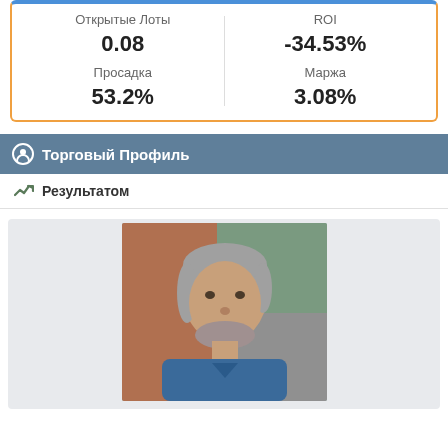| Открытые Лоты | ROI |
| --- | --- |
| 0.08 | -34.53% |
| Просадка | Маржа |
| 53.2% | 3.08% |
Торговый Профиль
Результатом
[Figure (photo): Portrait photo of a middle-aged man with grey hair and beard, smiling, outdoors]